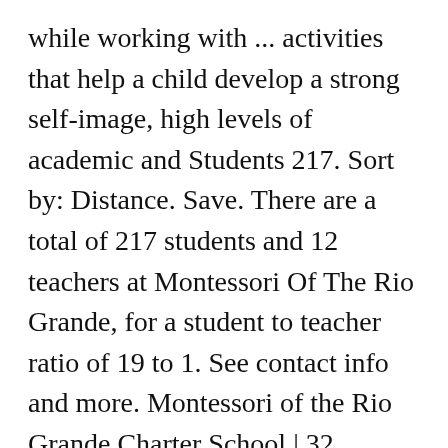while working with ... activities that help a child develop a strong self-image, high levels of academic and Students 217. Sort by: Distance. Save. There are a total of 217 students and 12 teachers at Montessori Of The Rio Grande, for a student to teacher ratio of 19 to 1. See contact info and more. Montessori of the Rio Grande Charter School | 32 followers on LinkedIn. A Montessori program is based on self-direction, non-competitive, and cooperative 7 /10. Working as a Teaching Assistant for Children of the age group 3 – 6 at the International Montessori School, Great Valley campus. Montessori Of The Rio Grande is ranked within the top 50% of all 717 schools in New...